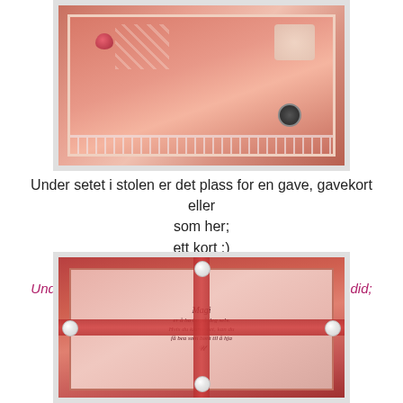[Figure (photo): A decorative pink crafted box/chair with lace trim, a black ring pull, and rose embellishments on top, photographed from above at an angle.]
Under setet i stolen er det plass for en gave, gavekort eller som her;
ett kort :)
***************
Under the seat there is room for a gift, giftcard or as i did;
a card :)
[Figure (photo): A decorative red and pink tray/box viewed from above, with red ribbon-like straps crossing in the middle, pearl embellishments at corners, and a pink panel inside with cursive script text reading a Norwegian quote about magic.]